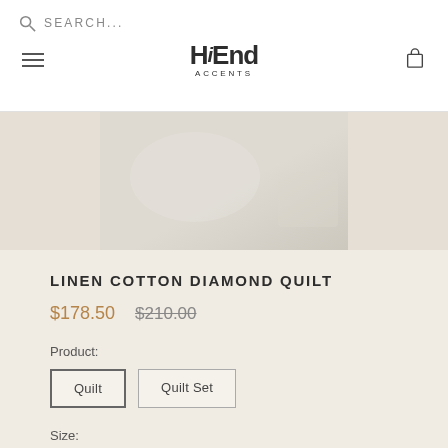SEARCH...
[Figure (logo): HiEnd Accents logo with hamburger menu and cart icon]
[Figure (photo): Partial product image of linen cotton diamond quilt, light beige tones]
LINEN COTTON DIAMOND QUILT
$178.50  $210.00
Product:
Quilt
Quilt Set
Size: